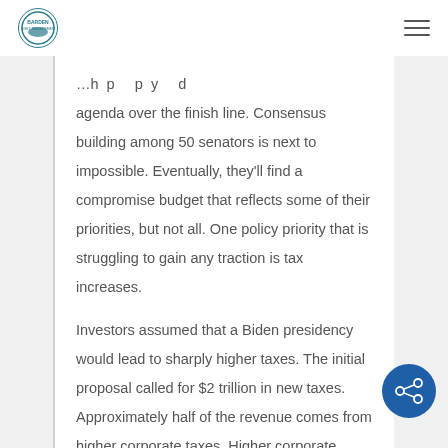Barden logo and navigation header
agenda over the finish line. Consensus building among 50 senators is next to impossible. Eventually, they'll find a compromise budget that reflects some of their priorities, but not all. One policy priority that is struggling to gain any traction is tax increases.
Investors assumed that a Biden presidency would lead to sharply higher taxes. The initial proposal called for $2 trillion in new taxes. Approximately half of the revenue comes from higher corporate taxes. Higher corporate